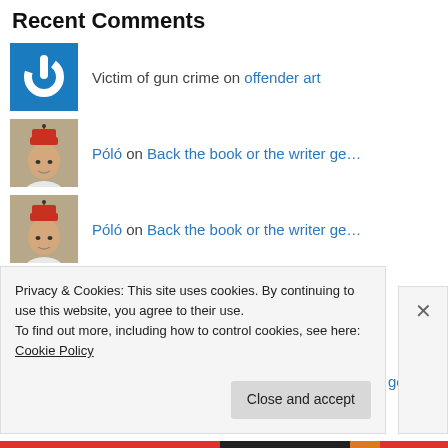Recent Comments
Victim of gun crime on offender art
Póló on Back the book or the writer ge…
Póló on Back the book or the writer ge…
Póló on Back the book or the writer ge…
tony zimnoch on Back the book or the writer ge…
Privacy & Cookies: This site uses cookies. By continuing to use this website, you agree to their use.
To find out more, including how to control cookies, see here: Cookie Policy
Close and accept